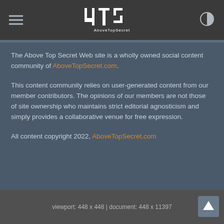4TS AboveTopSecret
The Above Top Secret Web site is a wholly owned social content community of AboveTopSecret.com.
This content community relies on user-generated content from our member contributors. The opinions of our members are not those of site ownership who maintains strict editorial agnosticism and simply provides a collaborative venue for free expression.
All content copyright 2022, AboveTopSecret.com
viewport: 448 x 448 | document: 448 x 11397